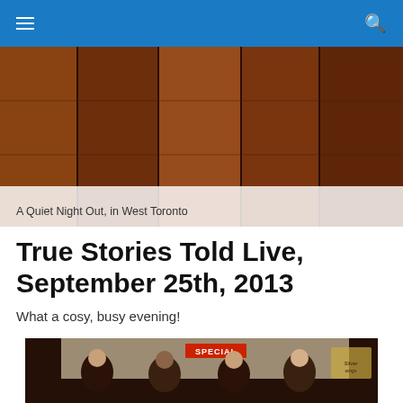[Figure (photo): Hero image of wooden plank wall background with breadcrumb navigation overlay reading 'A Quiet Night Out, in West Toronto']
A Quiet Night Out, in West Toronto
True Stories Told Live, September 25th, 2013
What a cosy, busy evening!
[Figure (photo): Group photo of four people at an event venue with a red 'SPECIAL' sign visible in the background and a Silverwings beer sign on the right]